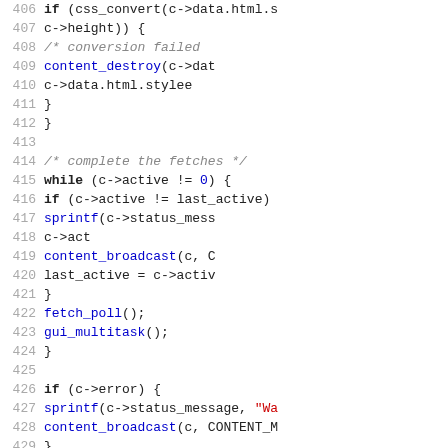[Figure (screenshot): Source code listing showing C code with line numbers 406-435, including CSS conversion, while loop for active fetches, error handling, and a doxygen comment block for fetchcache callback.]